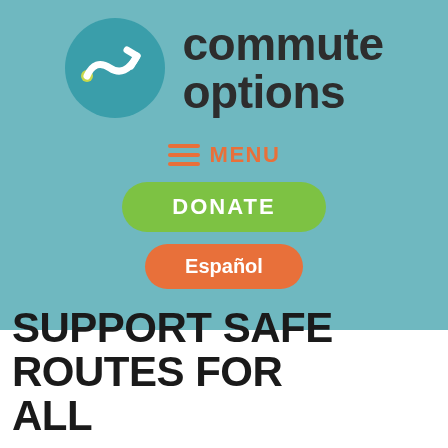[Figure (logo): Commute Options logo: teal circle with white stylized arrow/route icon, next to bold dark text reading 'commute options']
≡ MENU
DONATE
Español
SUPPORT SAFE ROUTES FOR ALL